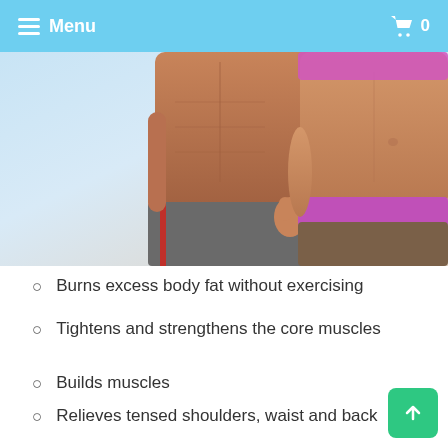☰ Menu   🛒 0
[Figure (photo): Cropped torsos of a shirtless muscular man and a woman in athletic wear (pink sports bra, brown leggings) showing toned abdominal muscles, against a light background.]
Burns excess body fat without exercising
Tightens and strengthens the core muscles
Builds muscles
Relieves tensed shoulders, waist and back
Directions For Use